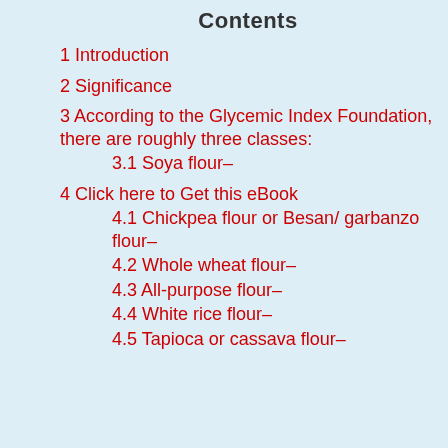Contents
1 Introduction
2 Significance
3 According to the Glycemic Index Foundation, there are roughly three classes:
3.1 Soya flour–
4 Click here to Get this eBook
4.1 Chickpea flour or Besan/ garbanzo flour–
4.2 Whole wheat flour–
4.3 All-purpose flour–
4.4 White rice flour–
4.5 Tapioca or cassava flour–